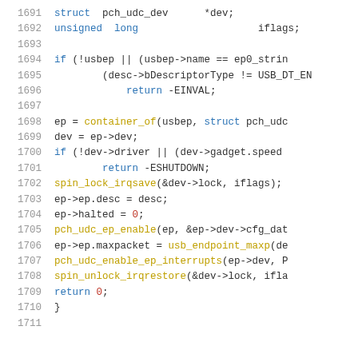[Figure (screenshot): Source code listing (C) showing lines 1691-1711, including struct declarations, if-conditions, container_of call, spin_lock_irqsave, ep enable and interrupt functions, and closing brace.]